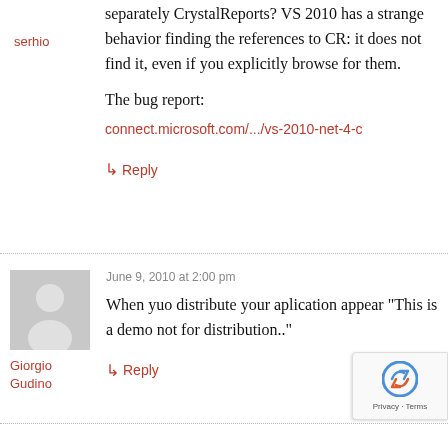serhio
separately CrystalReports? VS 2010 has a strange behavior finding the references to CR: it does not find it, even if you explicitly browse for them.

The bug report:
connect.microsoft.com/.../vs-2010-net-4-c
↳ Reply
June 9, 2010 at 2:00 pm
Giorgio Gudino
When yuo distribute your aplication appear "This is a demo not for distribution.."
↳ Reply